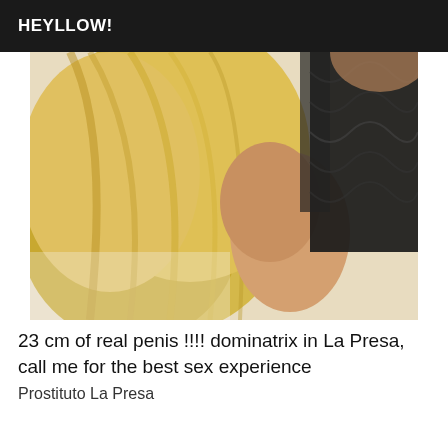HEYLLOW!
[Figure (photo): Close-up photo of a person with long blonde hair wearing a black lace outfit, viewed from behind/side.]
23 cm of real penis !!!! dominatrix in La Presa, call me for the best sex experience
Prostituto La Presa